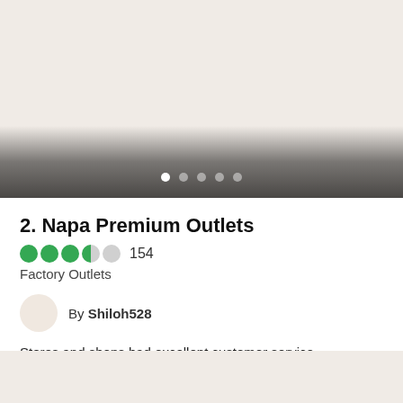[Figure (photo): Top image area with gradient fade at bottom and carousel dot indicators]
2. Napa Premium Outlets
154
Factory Outlets
By Shiloh528
Stores and shops had excellent customer service - "welcoming feeling" with great presentations and displays at Kate...